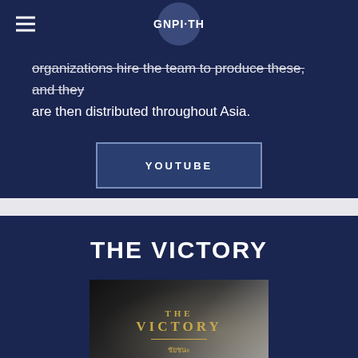GNPI-TH
organizations hire the team to produce these, and they are then distributed throughout Asia.
YOUTUBE
THE VICTORY
[Figure (screenshot): Video thumbnail showing 'THE VICTORY' title in gold text with Thai subtitle 'ชัยชนะ' on a dark cinematic background with light beams]